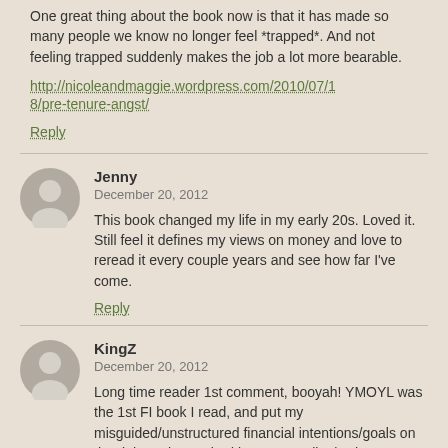One great thing about the book now is that so many people we know no longer feel *trapped*. And not feeling trapped suddenly makes the job a lot more bearable.
http://nicoleandmaggie.wordpress.com/2010/07/18/pre-tenure-angst/
Reply
Jenny
December 20, 2012
This book changed my life in my early 20s. Loved it. Still feel it defines my views on money and love to reread it every couple years and see how far I've come.
Reply
KingZ
December 20, 2012
Long time reader 1st comment, booyah! YMOYL was the 1st FI book I read, and put my misguided/unstructured financial intentions/goals on the right path...too bad it wasn't earlier:). I have always been frugal and tracked expenses, but never had a real plan. Now I do and it feels